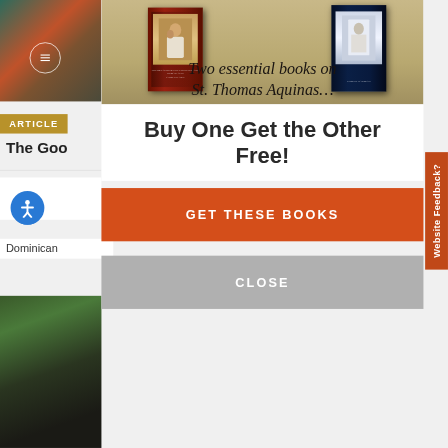[Figure (screenshot): Background website page partially obscured by a modal popup. Left side shows a fragment of a religious painting with green and orange tones, a circular table-of-contents icon, an 'ARTICLE' label in gold, a partial article title 'The Goo...', a blue accessibility icon, 'Dominican' text, and a bottom outdoor photo fragment.]
[Figure (photo): Book advertisement banner showing two books about St. Thomas Aquinas on a tan/parchment background with italic text: 'Two essential books on St. Thomas Aquinas...']
Two essential books on St. Thomas Aquinas...
Buy One Get the Other Free!
GET THESE BOOKS
CLOSE
Website Feedback?